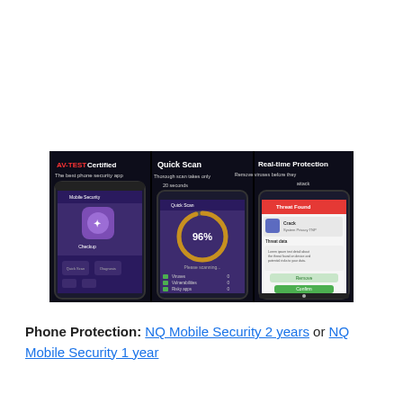[Figure (screenshot): Three smartphone screenshots showing NQ Mobile Security app features: 'AV-TEST Certified - The best phone security app', 'Quick Scan - Thorough scan takes only 20 seconds', and 'Real-time Protection - Remove viruses before they attack'. Each phone shows the app interface on a dark/purple background.]
Phone Protection: NQ Mobile Security 2 years or NQ Mobile Security 1 year